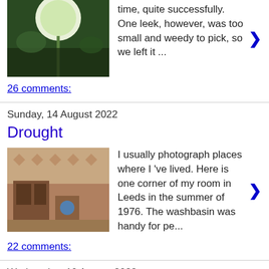time, quite successfully. One leek, however, was too small and weedy to pick, so we left it ...
26 comments:
Sunday, 14 August 2022
Drought
[Figure (photo): Interior of a room in Leeds, 1976, showing a corner with a washbasin and furniture with patterned wallpaper]
I usually photograph places where I 've lived. Here is one corner of my room in Leeds in the summer of 1976. The washbasin was handy for pe...
22 comments:
Wednesday, 10 August 2022
My Very First Mother Goose
[Figure (photo): Book cover of My Very First Mother Goose with illustrated animals on a yellow background]
In the small collection of items I put aside to blog about at some future time, is an obituary of Iona Opie , children's folklorist, who d...